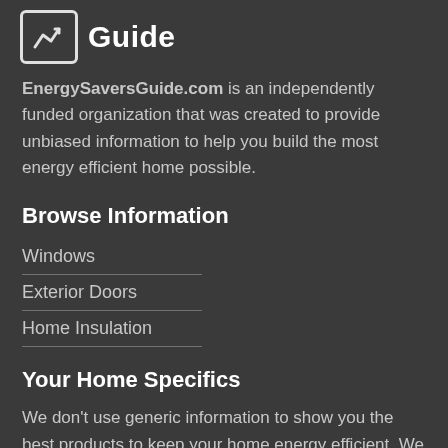Guide
EnergySaversGuide.com is an independently funded organization that was created to provide unbiased information to help you build the most energy efficient home possible.
Browse Information
Windows
Exterior Doors
Home Insulation
Your Home Specifics
We don't use generic information to show you the best products to keep your home energy efficient. We base all our recomendations on the exact